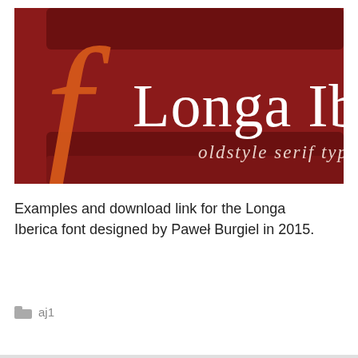[Figure (illustration): Banner image for Longa Iberica font. Dark red/crimson background with decorative rectangles. Large orange decorative letter 'f' on the left. White serif text 'Longa Iberica' in large oldstyle serif font. Below in lighter italic serif text: 'oldstyle serif typeface'.]
Examples and download link for the Longa Iberica font designed by Paweł Burgiel in 2015.
aj1